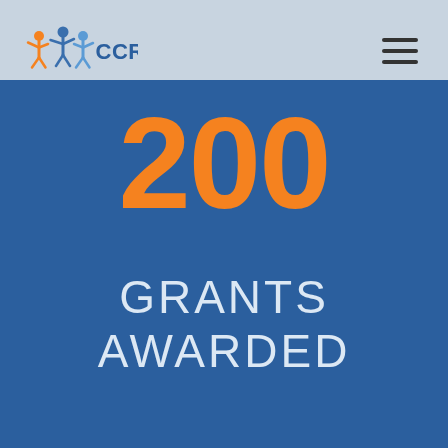[Figure (logo): CCRES logo with colorful human figures and blue CCRES text]
200
GRANTS AWARDED